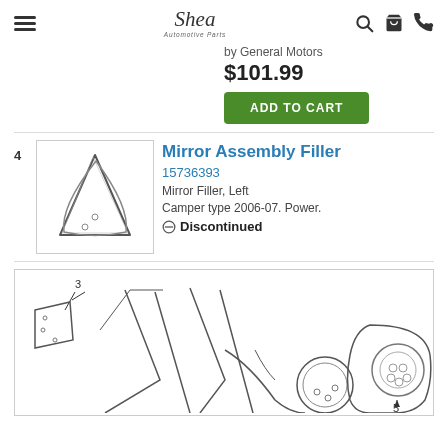Shea — navigation header with hamburger menu, logo, search, cart, and phone icons
by General Motors
$101.99
ADD TO CART
Mirror Assembly Filler
15736393
Mirror Filler, Left
Camper type 2006-07. Power.
Discontinued
[Figure (illustration): Line drawing of a triangular mirror filler assembly component, item number 4]
[Figure (engineering-diagram): Exploded engineering diagram of mirror assembly parts with item numbers 3, 4, 5 visible]